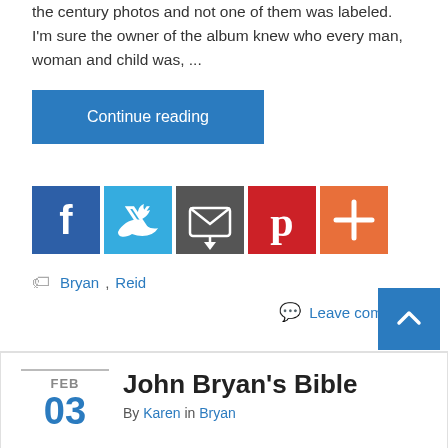the century photos and not one of them was labeled. I'm sure the owner of the album knew who every man, woman and child was, ...
Continue reading
[Figure (infographic): Social sharing icons: Facebook (blue), Twitter (light blue), a share/email icon (dark gray), Pinterest (red), and a plus/more icon (orange-red)]
Bryan, Reid
Leave comment
John Bryan's Bible
By Karen in Bryan
FEB 03
Last summer I visited Ed, a distant relative who lives in